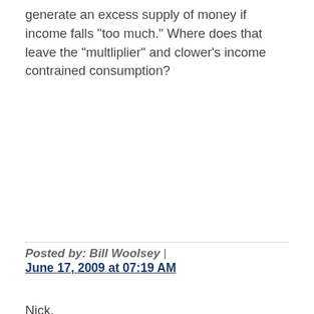generate an excess supply of money if income falls "too much." Where does that leave the "multliplier" and clower's income contrained consumption?
Posted by: Bill Woolsey | June 17, 2009 at 07:19 AM
Nick,
to make the story more explicit, I think what you mean by an desired velocity is given by desired stock of money / desired consumption (over whatever accounting period we a using = 1 year?). If for some reason imbalances arise